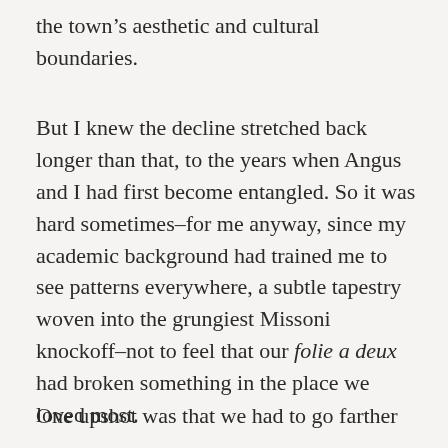the town's aesthetic and cultural boundaries.
But I knew the decline stretched back longer than that, to the years when Angus and I had first become entangled. So it was hard sometimes–for me anyway, since my academic background had trained me to see patterns everywhere, a subtle tapestry woven into the grungiest Missoni knockoff–not to feel that our folie a deux had broken something in the place we loved most.
One upshot was that we had to go farther afield now for the elements that made Old